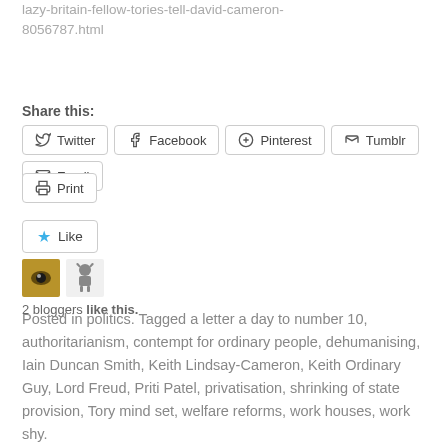lazy-britain-fellow-tories-tell-david-cameron-8056787.html
Share this:
Twitter  Facebook  Pinterest  Tumblr  Email  Print
[Figure (other): Like button with star icon, and two blogger avatars (a golden eye image and a small decorative figure)]
2 bloggers like this.
Posted in politics. Tagged a letter a day to number 10, authoritarianism, contempt for ordinary people, dehumanising, Iain Duncan Smith, Keith Lindsay-Cameron, Keith Ordinary Guy, Lord Freud, Priti Patel, privatisation, shrinking of state provision, Tory mind set, welfare reforms, work houses, work shy.